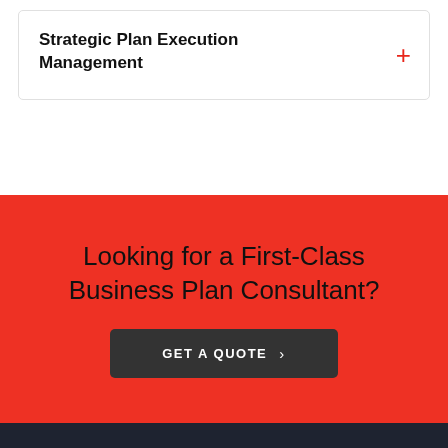Strategic Plan Execution Management
Looking for a First-Class Business Plan Consultant?
GET A QUOTE ›